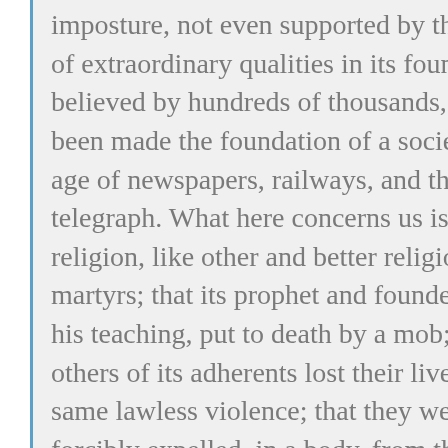imposture, not even supported by the prestige of extraordinary qualities in its founder, is believed by hundreds of thousands, and has been made the foundation of a society, in the age of newspapers, railways, and the electric telegraph. What here concerns us is, that this religion, like other and better religions, has its martyrs; that its prophet and founder was, for his teaching, put to death by a mob; that others of its adherents lost their lives by the same lawless violence; that they were forcibly expelled, in a body, from the country in